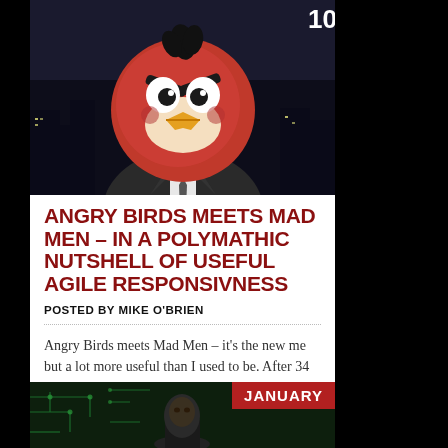[Figure (illustration): Angry Birds red bird character face superimposed on a suited person in a dark city background, with number 10 visible top right]
ANGRY BIRDS MEETS MAD MEN – IN A POLYMATHIC NUTSHELL OF USEFUL AGILE RESPONSIVNESS
POSTED BY MIKE O'BRIEN
Angry Birds meets Mad Men – it's the new me but a lot more useful than I used to be. After 34 years in brand, direct and digital
[Figure (photo): Person in dark setting with circuit board background, January badge in red top right, partial number visible at bottom]